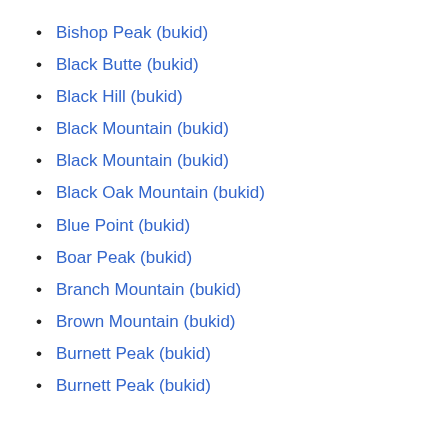Bishop Peak (bukid)
Black Butte (bukid)
Black Hill (bukid)
Black Mountain (bukid)
Black Mountain (bukid)
Black Oak Mountain (bukid)
Blue Point (bukid)
Boar Peak (bukid)
Branch Mountain (bukid)
Brown Mountain (bukid)
Burnett Peak (bukid)
Burnett Peak (bukid)